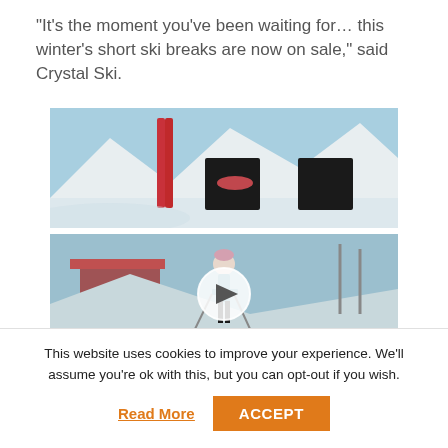“It’s the moment you’ve been waiting for… this winter’s short ski breaks are now on sale,” said Crystal Ski.
[Figure (photo): Snowy mountain scene with red skis standing upright and two people reclining in sun loungers on a ski slope, clear blue sky.]
[Figure (photo): Video thumbnail of a female skier on a snowy slope with a play button overlay, ski lift infrastructure in the background, clear blue sky.]
This website uses cookies to improve your experience. We’ll assume you’re ok with this, but you can opt-out if you wish.
Read More
ACCEPT